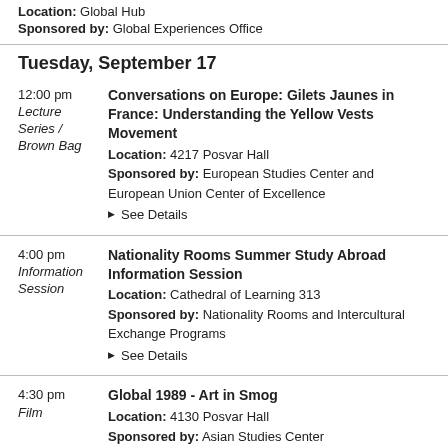Location: Global Hub
Sponsored by: Global Experiences Office
Tuesday, September 17
12:00 pm | Lecture Series / Brown Bag
Conversations on Europe: Gilets Jaunes in France: Understanding the Yellow Vests Movement
Location: 4217 Posvar Hall
Sponsored by: European Studies Center and European Union Center of Excellence
See Details
4:00 pm | Information Session
Nationality Rooms Summer Study Abroad Information Session
Location: Cathedral of Learning 313
Sponsored by: Nationality Rooms and Intercultural Exchange Programs
See Details
4:30 pm | Film
Global 1989 - Art in Smog
Location: 4130 Posvar Hall
Sponsored by: Asian Studies Center
See Details